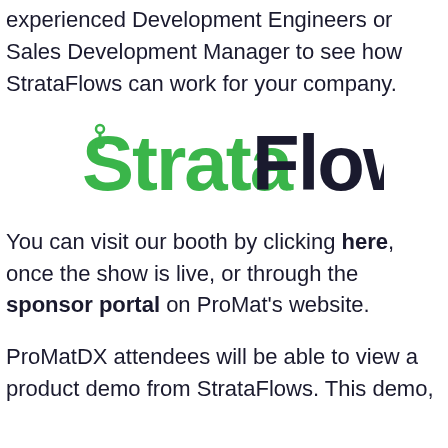experienced Development Engineers or Sales Development Manager to see how StrataFlows can work for your company.
[Figure (logo): StrataFlows logo with green stylized S icon and 'Strata' in green, 'Flows' in dark navy text]
You can visit our booth by clicking here, once the show is live, or through the sponsor portal on ProMat's website.
ProMatDX attendees will be able to view a product demo from StrataFlows. This demo,